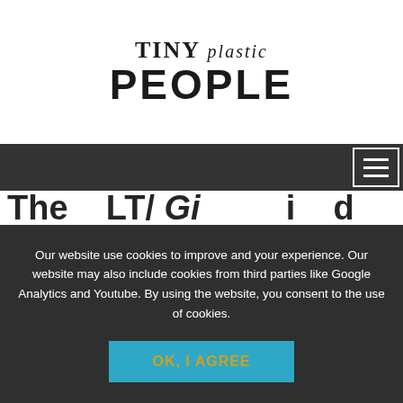[Figure (logo): Tiny Plastic People logo — 'TINY' in serif bold uppercase with 'plastic' in smaller italic, 'PEOPLE' in large bold uppercase sans-serif below]
[Figure (screenshot): Dark navigation bar with hamburger menu icon (three horizontal lines) in top-right corner]
Our website use cookies to improve and your experience. Our website may also include cookies from third parties like Google Analytics and Youtube. By using the website, you consent to the use of cookies.
OK, I AGREE